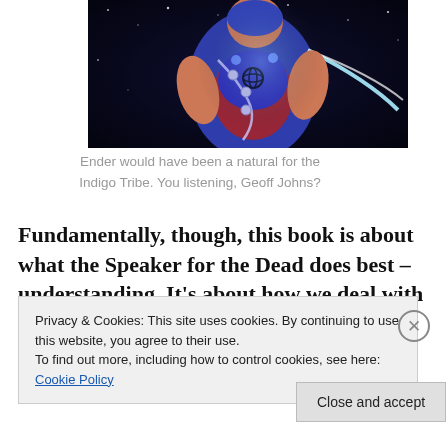[Figure (illustration): Comic book artwork showing a superhero character in blue and red costume with chains, glowing energy, set against a dark starry background]
Ender would have been a natural for the Indigo Tribe. You listening, Geoff Johns?
Fundamentally, though, this book is about what the Speaker for the Dead does best – understanding. It's about how we deal with The Other, even when that Other
Privacy & Cookies: This site uses cookies. By continuing to use this website, you agree to their use.
To find out more, including how to control cookies, see here: Cookie Policy
Close and accept